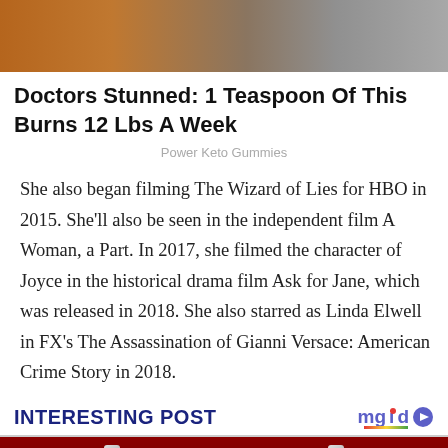[Figure (photo): Top portion of an advertisement image showing brown spice/powder on a spoon and a blurred background]
Doctors Stunned: 1 Teaspoon Of This Burns 12 Lbs A Week
Power Keto Gummies
She also began filming The Wizard of Lies for HBO in 2015. She'll also be seen in the independent film A Woman, a Part. In 2017, she filmed the character of Joyce in the historical drama film Ask for Jane, which was released in 2018. She also starred as Linda Elwell in FX's The Assassination of Gianni Versace: American Crime Story in 2018.
INTERESTING POST
[Figure (photo): Bottom image showing metallic screws on a dark red background]